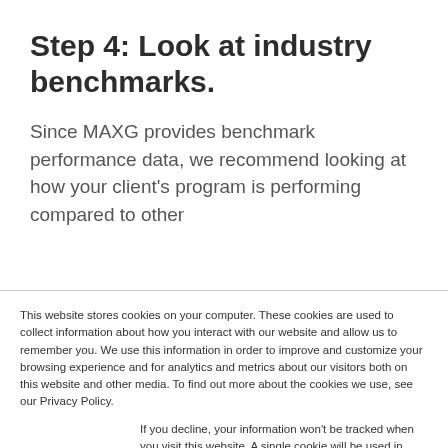Step 4: Look at industry benchmarks.
Since MAXG provides benchmark performance data, we recommend looking at how your client's program is performing compared to other
This website stores cookies on your computer. These cookies are used to collect information about how you interact with our website and allow us to remember you. We use this information in order to improve and customize your browsing experience and for analytics and metrics about our visitors both on this website and other media. To find out more about the cookies we use, see our Privacy Policy.
If you decline, your information won't be tracked when you visit this website. A single cookie will be used in your browser to remember your preference not to be tracked.